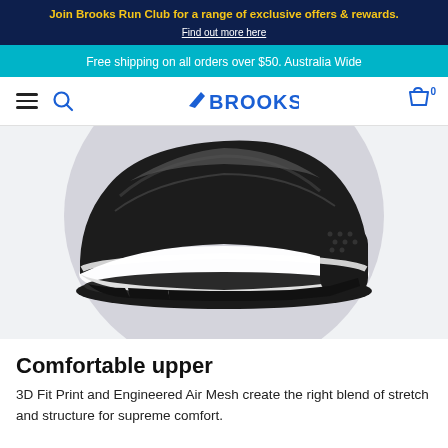Join Brooks Run Club for a range of exclusive offers & rewards. Find out more here
Free shipping on all orders over $50. Australia Wide
Brooks navigation bar with hamburger menu, search, logo, and cart
[Figure (photo): Close-up of a Brooks running shoe (black upper with white midsole) displayed against a circular light grey background on a white page background]
Comfortable upper
3D Fit Print and Engineered Air Mesh create the right blend of stretch and structure for supreme comfort.